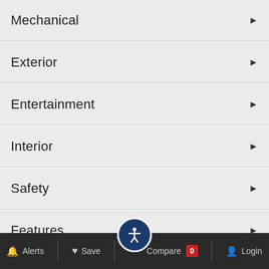Mechanical
Exterior
Entertainment
Interior
Safety
Features
Alerts  Save  Compare 0  Login